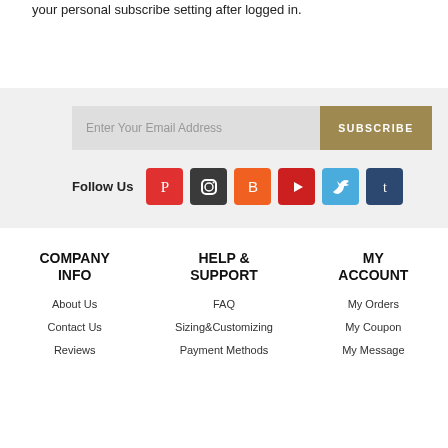your personal subscribe setting after logged in.
[Figure (infographic): Email subscription box with 'Enter Your Email Address' input and 'SUBSCRIBE' button, followed by 'Follow Us' social media icons for Pinterest, Instagram, Blogger, YouTube, Twitter, and Tumblr]
COMPANY INFO
HELP & SUPPORT
MY ACCOUNT
About Us
FAQ
My Orders
Contact Us
Sizing&Customizing
My Coupon
Reviews
Payment Methods
My Message